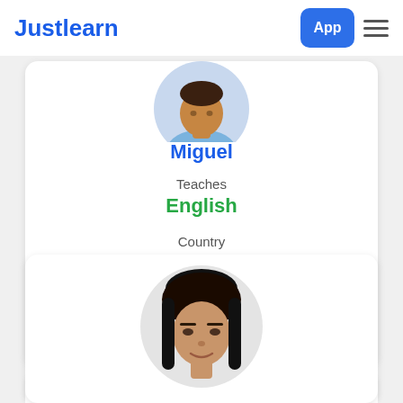Justlearn — App
[Figure (photo): Profile photo of Miguel, a person in a blue shirt, shown in a circular crop]
Miguel
Teaches
English
Country
Mexico
Joined
10 July, 2021
[Figure (photo): Partial profile photo of a second person with dark hair, shown from top of head to chin in a circular crop]